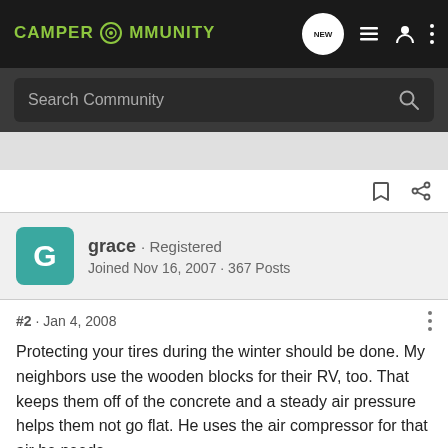CAMPER COMMUNITY
Search Community
grace · Registered
Joined Nov 16, 2007 · 367 Posts
#2 · Jan 4, 2008
Protecting your tires during the winter should be done. My neighbors use the wooden blocks for their RV, too. That keeps them off of the concrete and a steady air pressure helps them not go flat. He uses the air compressor for that air he needs.